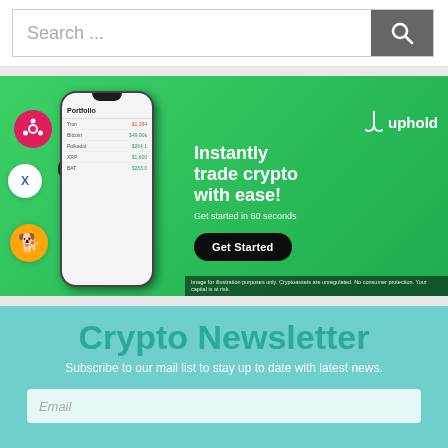[Figure (screenshot): Search bar with placeholder text 'Search ...' and a dark gray search button with magnifying glass icon]
[Figure (infographic): Uphold crypto trading advertisement banner. Green background showing a phone with crypto portfolio app, crypto coin icons (Bitcoin, XRP, Shiba Inu, Solana, Polkadot), text 'Instantly trade crypto with ease! Get started in 60 seconds', Uphold logo and branding, and a 'Get Started' black pill button. Disclaimer: Image for illustration purposes only. Cryptoassets are unregulated. No consumer protection. Your capital is at risk.]
Crypto Newsletter
Subscribe to our mail list to stay up to date with latest news.
[Figure (screenshot): Email input field partially visible at bottom of page]